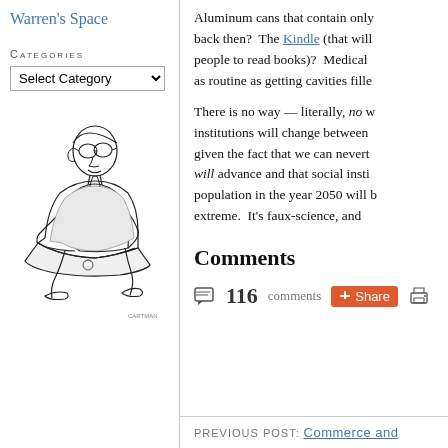Warren's Space
Categories
Select Category
[Figure (illustration): Black and white pen illustration of an elderly man wearing glasses, sitting hunched over a laptop computer with an Apple logo, wearing a tie.]
Aluminum cans that contain only back then? The Kindle (that will people to read books)? Medical as routine as getting cavities fille
There is no way — literally, no w institutions will change between given the fact that we can nevert will advance and that social insti population in the year 2050 will b extreme. It's faux-science, and
Comments
116 comments  Share
PREVIOUS POST: Commerce and